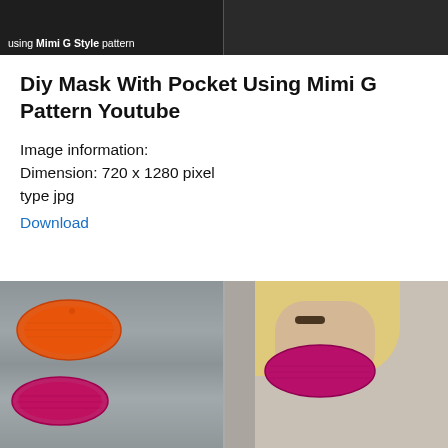[Figure (photo): Top banner image split in two panels: left panel dark background with text 'using Mimi G Style pattern', right panel dark background with person wearing mask]
Diy Mask With Pocket Using Mimi G Pattern Youtube
Image information:
Dimension: 720 x 1280 pixel
type jpg
Download
[Figure (photo): Bottom image split in two panels: left panel showing crocheted face masks in orange and red/pink colors on a wood plank background, right panel showing a blonde woman wearing a pink/magenta crocheted face mask]